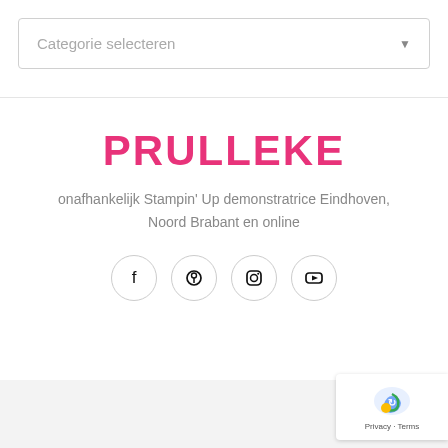Categorie selecteren
PRULLEKE
onafhankelijk Stampin' Up demonstratrice Eindhoven, Noord Brabant en online
[Figure (other): Social media icons: Facebook, Pinterest, Instagram, YouTube]
[Figure (other): reCAPTCHA badge with Privacy and Terms links]